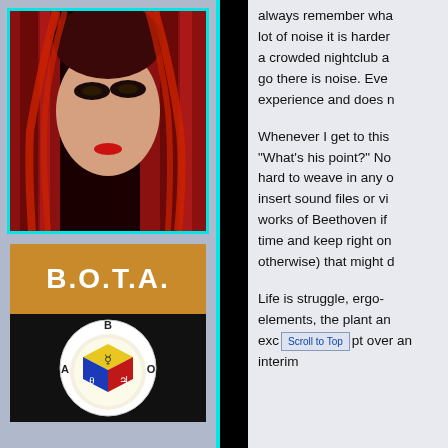[Figure (photo): Close-up photo of a woman with red hair and dark eye makeup, partially obscured by red curtains or fabric. Cyan/teal border.]
[Figure (logo): B.O.T.A. logo: golden/brown bar with white bold text 'B.O.T.A.' above a black background with a circular emblem containing a colored cube (yellow, blue, red faces) with alchemical/astrological symbols, labeled A, B, O around the circle.]
always remember wha lot of noise it is harder a crowded nightclub a go there is noise. Eve experience and does n
Whenever I get to this "What's his point?" No hard to weave in any c insert sound files or vi works of Beethoven if time and keep right on otherwise) that might d
Life is struggle, ergo- elements, the plant an except over an interim